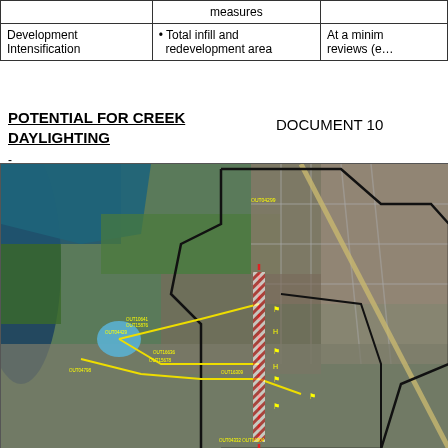|  | measures |  |
| --- | --- | --- |
| Development Intensification | • Total infill and redevelopment area | At a minim reviews (e… |
POTENTIAL FOR CREEK DAYLIGHTING
DOCUMENT 10
-
[Figure (map): Aerial/satellite map showing creek daylighting potential in an urban area, with yellow lines indicating creek routes, red dashed lines marking a corridor, black boundary outlines, and labeled outfall points (OUT codes) overlaid on the satellite imagery.]